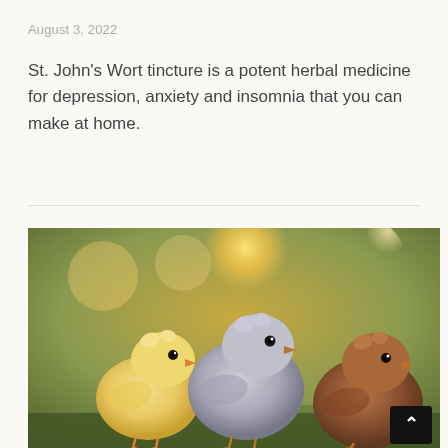August 3, 2022
St. John's Wort tincture is a potent herbal medicine for depression, anxiety and insomnia that you can make at home.
[Figure (photo): Three baby chicks (one yellow, one gray, one brown/reddish) standing outdoors with a warm golden bokeh background of sunlight and green foliage. A black scroll-to-top button with a white caret is visible in the lower right corner of the image.]